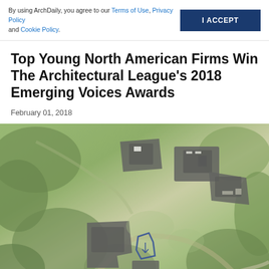By using ArchDaily, you agree to our Terms of Use, Privacy Policy and Cookie Policy.
Top Young North American Firms Win The Architectural League's 2018 Emerging Voices Awards
February 01, 2018
[Figure (photo): Aerial drone photograph of a modern architectural complex set in lush green landscape, showing multiple dark-roofed building volumes arranged in a curved cluster, with a blue outlined shape overlay near the center-bottom of the image.]